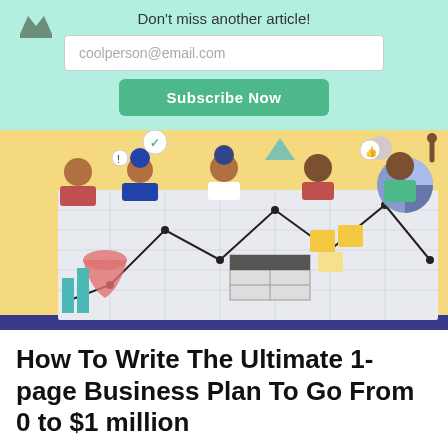Don't miss another article!
coolperson@email.com
Subscribe Now
[Figure (illustration): Colorful illustration of diverse people holding up a large business plan document/whiteboard with charts, graphs, pie charts, and planning diagrams on it. Background is light yellow with decorative shapes.]
How To Write The Ultimate 1-page Business Plan To Go From 0 to $1 million